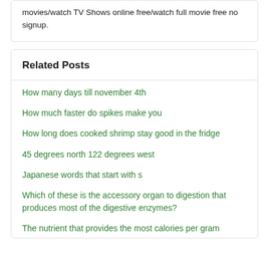movies/watch TV Shows online free/watch full movie free no signup.
Related Posts
How many days till november 4th
How much faster do spikes make you
How long does cooked shrimp stay good in the fridge
45 degrees north 122 degrees west
Japanese words that start with s
Which of these is the accessory organ to digestion that produces most of the digestive enzymes?
The nutrient that provides the most calories per gram